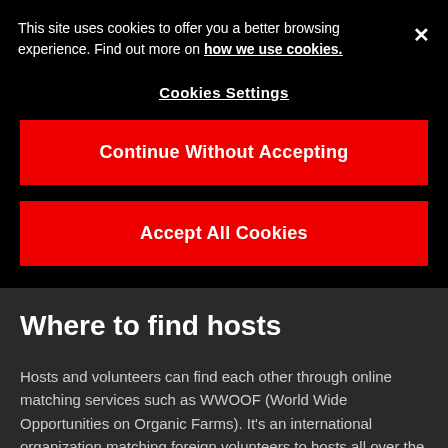This site uses cookies to offer you a better browsing experience. Find out more on how we use cookies.
Cookies Settings
Continue Without Accepting
Accept All Cookies
Where to find hosts
Hosts and volunteers can find each other through online matching services such as WWOOF (World Wide Opportunities on Organic Farms). It's an international organization matching foreign volunteers to hosts all over the world. In Japan, many WWOOF hosts are based in rural locations. They tend to offer a glimpse into microcultures and local traditions usually inaccessible to foreigners.